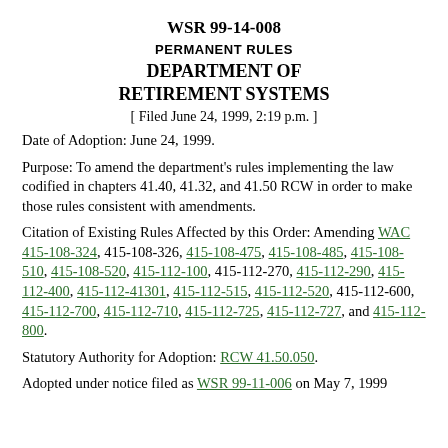WSR 99-14-008
PERMANENT RULES
DEPARTMENT OF RETIREMENT SYSTEMS
[ Filed June 24, 1999, 2:19 p.m. ]
Date of Adoption: June 24, 1999.
Purpose: To amend the department's rules implementing the law codified in chapters 41.40, 41.32, and 41.50 RCW in order to make those rules consistent with amendments.
Citation of Existing Rules Affected by this Order: Amending WAC 415-108-324, 415-108-326, 415-108-475, 415-108-485, 415-108-510, 415-108-520, 415-112-100, 415-112-270, 415-112-290, 415-112-400, 415-112-41301, 415-112-515, 415-112-520, 415-112-600, 415-112-700, 415-112-710, 415-112-725, 415-112-727, and 415-112-800.
Statutory Authority for Adoption: RCW 41.50.050.
Adopted under notice filed as WSR 99-11-006 on May 7, 1999